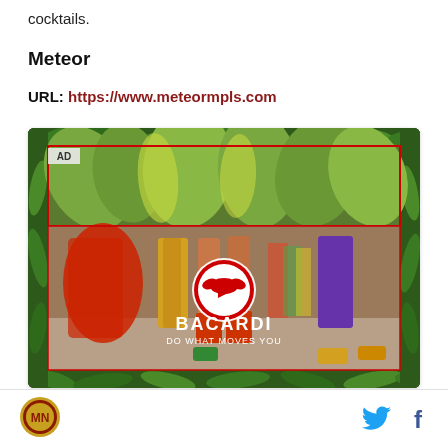cocktails.
Meteor
URL: https://www.meteormpls.com
[Figure (screenshot): Screenshot of a webpage showing a Bacardi video advertisement with tropical leaves border, colorful dancers' legs in festive clothing, a play button overlay with Bacardi bat logo, and text 'BACARDI DO WHAT MOVES YOU'. An 'AD' label is visible in the top-left corner of the video.]
Minnesota icon logo, Twitter bird icon, Facebook f icon